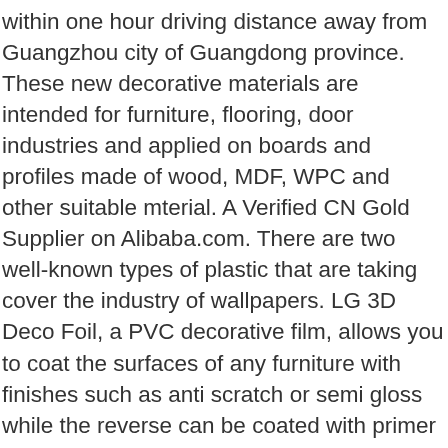within one hour driving distance away from Guangzhou city of Guangdong province. These new decorative materials are intended for furniture, flooring, door industries and applied on boards and profiles made of wood, MDF, WPC and other suitable mterial. A Verified CN Gold Supplier on Alibaba.com. There are two well-known types of plastic that are taking cover the industry of wallpapers. LG 3D Deco Foil, a PVC decorative film, allows you to coat the surfaces of any furniture with finishes such as anti scratch or semi gloss while the reverse can be coated with primer to ensure durability. Guangzhou Baojiali Decorative Film Co., Ltd., Experts in Manufacturing and Exporting PVC decorative film,PVC plate film and 86 more Products. A Verified CN Gold Supplier on ... $0.67 - $0.68 / Meter. If you are interested in renovating your home with some fancy wallpaper, we highly recommend you check out what these two particular wallpaper films can deliver. Pvc. We are professional pvc film,pvc decorative material,pvc foil manufacturers and factory.We can produce pvc film,pvc